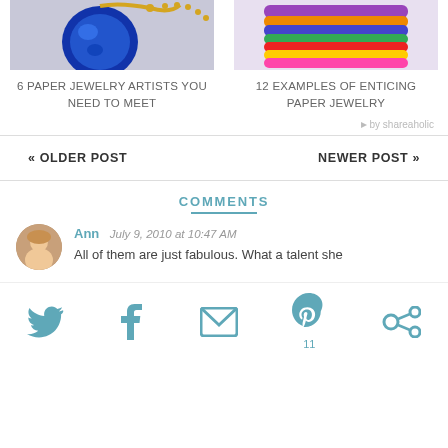[Figure (photo): Blue gemstone/pendant with gold chain]
[Figure (photo): Stack of colorful fabric bracelets/bangles]
6 PAPER JEWELRY ARTISTS YOU NEED TO MEET
12 EXAMPLES OF ENTICING PAPER JEWELRY
by shareaholic
« OLDER POST
NEWER POST »
COMMENTS
Ann  July 9, 2010 at 10:47 AM
All of them are just fabulous. What a talent she